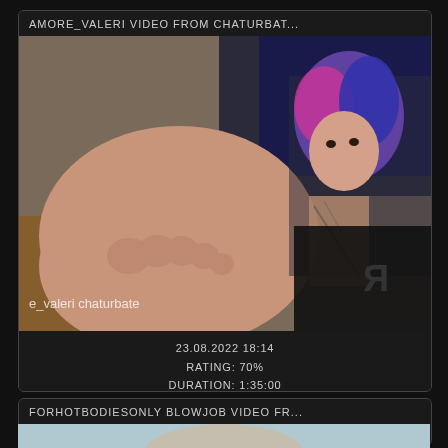AMORE_VALERI VIDEO FROM CHATURBAT...
[Figure (screenshot): Thumbnail of a video showing a person with multi-colored hair (pink and blue) and tattoos, holding feet toward the camera. Watermark text reads 'e_valeri chaturbate'.]
23.08.2022 18:14
RATING: 70%
DURATION: 1:35:00
FORHOTBODIESONLY BLOWJOB VIDEO FR...
[Figure (screenshot): Partial thumbnail of a video showing a blond person, partially visible at bottom of page.]